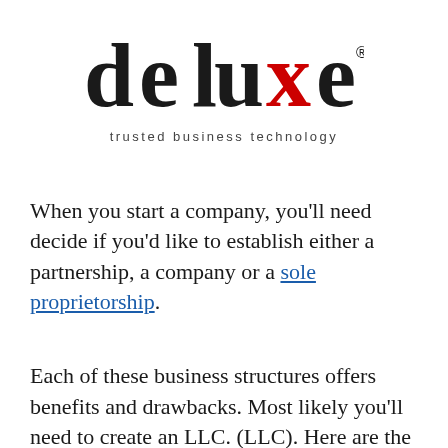[Figure (logo): Deluxe logo with 'deluxe' in large black lowercase letters with a red X, followed by a registered trademark symbol, and 'trusted business technology' in spaced gray text below]
When you start a company, you'll need decide if you'd like to establish either a partnership, a company or a sole proprietorship.
Each of these business structures offers benefits and drawbacks. Most likely you'll need to create an LLC. (LLC). Here are the